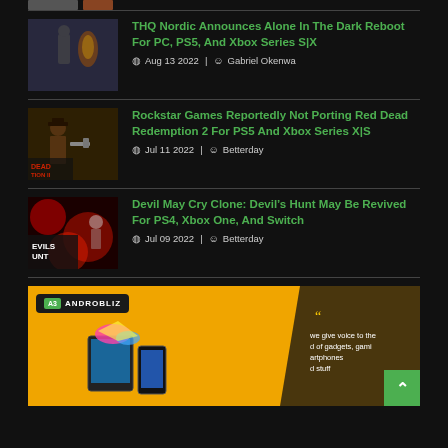[Figure (photo): Partial thumbnail of a game article at top]
THQ Nordic Announces Alone In The Dark Reboot For PC, PS5, And Xbox Series S|X
Aug 13 2022  |  Gabriel Okenwa
Rockstar Games Reportedly Not Porting Red Dead Redemption 2 For PS5 And Xbox Series X|S
Jul 11 2022  |  Betterday
Devil May Cry Clone: Devil’s Hunt May Be Revived For PS4, Xbox One, And Switch
Jul 09 2022  |  Betterday
[Figure (logo): Androbliz banner advertisement with yellow background, logo, device images, and tagline about gadgets and gaming]